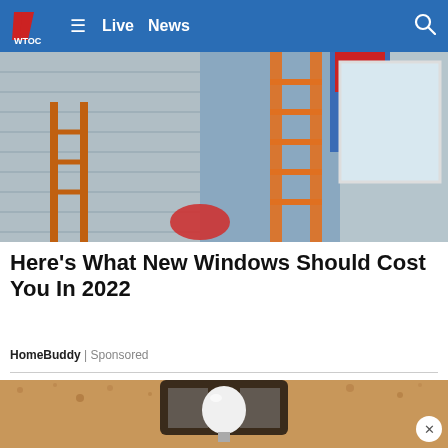WTOC — Live  News
[Figure (photo): People installing windows on a house exterior, with an orange ladder visible. A person in jeans and red shirt stands on or near the ladder.]
Here's What New Windows Should Cost You In 2022
HomeBuddy | Sponsored
[Figure (photo): Close-up photo of an outdoor wall-mounted light fixture with a white light bulb, mounted on a textured stucco wall.]